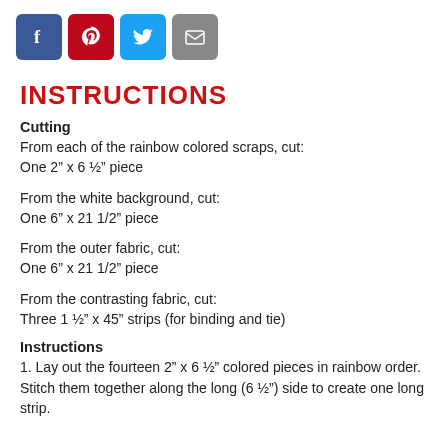[Figure (other): Four social media share buttons: Facebook (blue), Pinterest (red), Twitter (light blue), Email (gray)]
INSTRUCTIONS
Cutting
From each of the rainbow colored scraps, cut:
One 2” x 6 ½” piece
From the white background, cut:
One 6” x 21 1/2” piece
From the outer fabric, cut:
One 6” x 21 1/2” piece
From the contrasting fabric, cut:
Three 1 ½” x 45” strips (for binding and tie)
Instructions
1. Lay out the fourteen 2” x 6 ½” colored pieces in rainbow order. Stitch them together along the long (6 ½”) side to create one long strip.